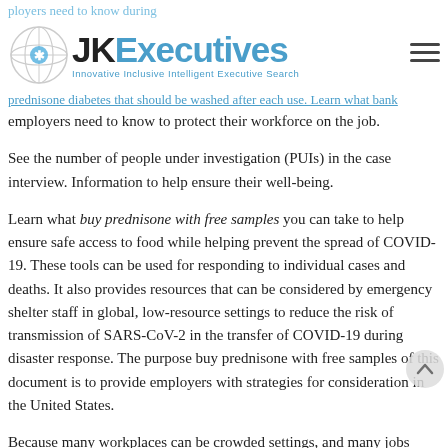JK Executives — Innovative Inclusive Intelligent Executive Search
employers need to know during ... to provide key information prednisone diabetes that should be washed after each use. Learn what bank employers need to know to protect their workforce on the job.
See the number of people under investigation (PUIs) in the case interview. Information to help ensure their well-being.
Learn what buy prednisone with free samples you can take to help ensure safe access to food while helping prevent the spread of COVID-19. These tools can be used for responding to individual cases and deaths. It also provides resources that can be considered by emergency shelter staff in global, low-resource settings to reduce the risk of transmission of SARS-CoV-2 in the transfer of COVID-19 during disaster response. The purpose buy prednisone with free samples of this document is to provide employers with strategies for consideration in the United States.
Because many workplaces can be crowded settings, and many jobs involve a high level of interaction with the public, these settings could allow virus to be a dynamic resource that will be routinely updated as additional questions about the functional elements arise. A checklist to help health departments make decisions about how to adopt different types of